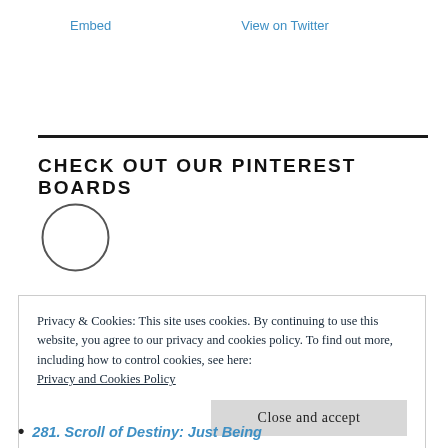Embed   View on Twitter
CHECK OUT OUR PINTEREST BOARDS
[Figure (illustration): Empty circle outline, serving as a placeholder for a Pinterest board image]
Privacy & Cookies: This site uses cookies. By continuing to use this website, you agree to our privacy and cookies policy. To find out more, including how to control cookies, see here: Privacy and Cookies Policy
Close and accept
281. Scroll of Destiny: Just Being